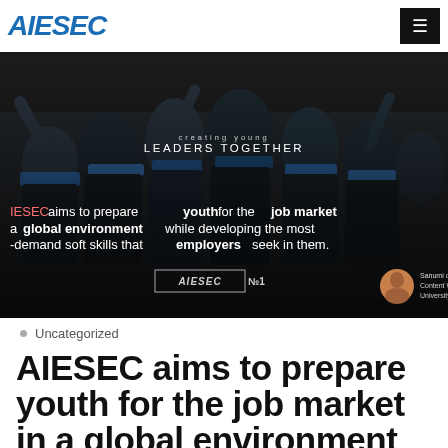AIESEC
[Figure (photo): Group of young people in AIESEC blue uniforms/scarves gathered together, with text overlay reading 'creating young LEADERS TOGETHER' and overlay text about preparing youth for the job market. AIESEC logo watermark and author badge for Sanumi de silva, Content Writer, University of Ruhuna.]
Uncategorized
AIESEC aims to prepare youth for the job market in a global environment